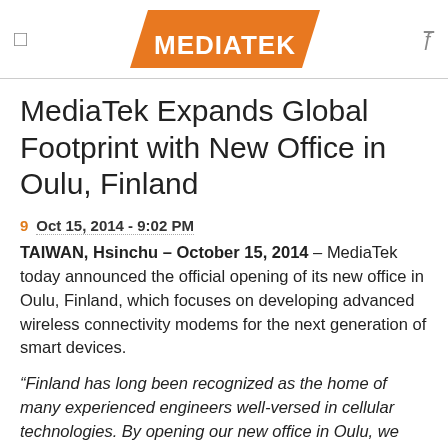MEDIATEK
MediaTek Expands Global Footprint with New Office in Oulu, Finland
9  Oct 15, 2014 - 9:02 PM
TAIWAN, Hsinchu – October 15, 2014 – MediaTek today announced the official opening of its new office in Oulu, Finland, which focuses on developing advanced wireless connectivity modems for the next generation of smart devices.
“Finland has long been recognized as the home of many experienced engineers well-versed in cellular technologies. By opening our new office in Oulu, we hope to be an attractive employer to some of most seasoned engineers and the